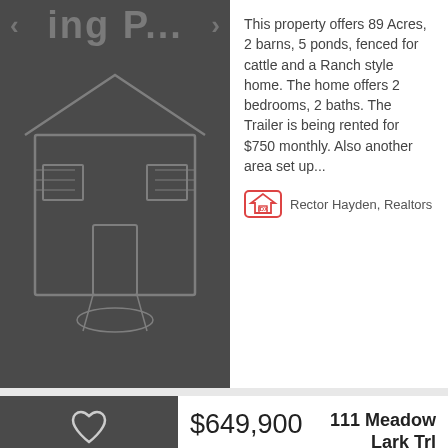[Figure (photo): Dark gray placeholder image of a house/property with navigation arrows and stylized text overlay reading 'ing P...' in large gray letters]
This property offers 89 Acres, 2 barns, 5 ponds, fenced for cattle and a Ranch style home. The home offers 2 bedrooms, 2 baths. The Trailer is being rented for $750 monthly. Also another area set up...
Rector Hayden, Realtors
[Figure (photo): Dark gray placeholder image of a property listing with a heart/favorite icon]
$649,900
111 Meadow Lark Trl
Neighborhood...
Georgetown, KY 40324